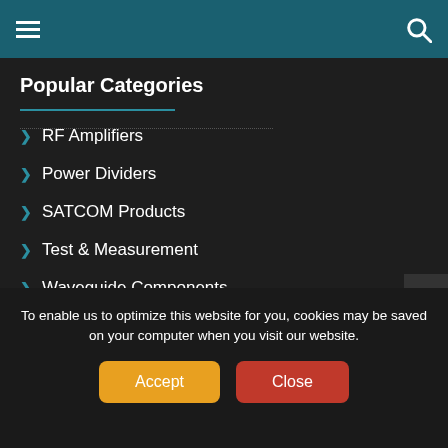Navigation bar with hamburger menu and search icon
Popular Categories
RF Amplifiers
Power Dividers
SATCOM Products
Test & Measurement
Waveguide Components
Wireless Infrastructure
Wireless Modules
Our Network
To enable us to optimize this website for you, cookies may be saved on your computer when you visit our website.
Accept | Close